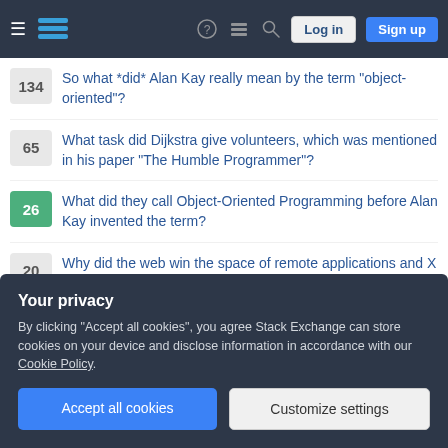Stack Exchange navigation bar with Log in and Sign up buttons
134 — So what *did* Alan Kay really mean by the term "object-oriented"?
65 — What task did Dijkstra give volunteers, which was mentioned in his paper "The Humble Programmer"?
26 — What did they call Object-Oriented Programming before Alan Kay invented the term?
20 — Why did the web win the space of remote applications and X not?
74 — Why was the first compiler written before the first interpreter?
7 — Why was the grave but not the acute accent included in ASCII?
Your privacy
By clicking "Accept all cookies", you agree Stack Exchange can store cookies on your device and disclose information in accordance with our Cookie Policy.
Accept all cookies | Customize settings